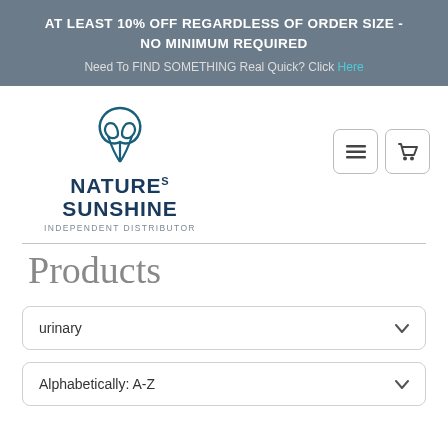AT LEAST 10% OFF REGARDLESS OF ORDER SIZE - NO MINIMUM REQUIRED
Need To FIND SOMETHING Real Quick? Click Here
[Figure (logo): Nature's Sunshine Independent Distributor logo with leaf/petal icon and bold navy text]
Products
urinary
Alphabetically: A-Z